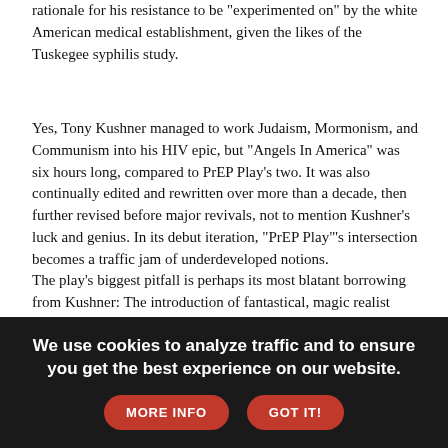rationale for his resistance to be "experimented on" by the white American medical establishment, given the likes of the Tuskegee syphilis study.
Yes, Tony Kushner managed to work Judaism, Mormonism, and Communism into his HIV epic, but "Angels In America" was six hours long, compared to PrEP Play's two. It was also continually edited and rewritten over more than a decade, then further revised before major revivals, not to mention Kushner's luck and genius. In its debut iteration, "PrEP Play"'s intersection becomes a traffic jam of underdeveloped notions.
The play's biggest pitfall is perhaps its most blatant borrowing from Kushner: The introduction of fantastical, magic realist elements. Rather than ghosts and angels, Liu quite cleverly comes up with Agent 701, a spiky personification of Truvada, with an electric guitar slung over their shoulder.
The part is well-played, with a chilly but seductive equanimity by
We use cookies to analyze traffic and to ensure you get the best experience on our website.